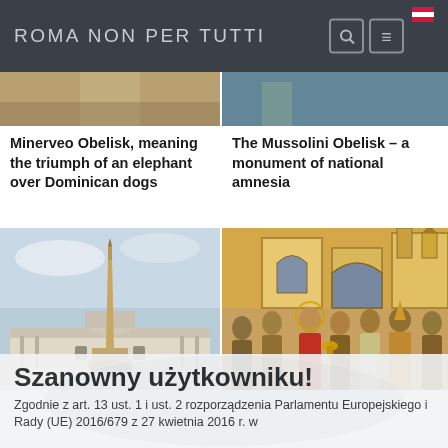ROMA NON PER TUTTI
Minerveo Obelisk, meaning the triumph of an elephant over Dominican dogs
The Mussolini Obelisk – a monument of national amnesia
[Figure (photo): Photo of an obelisk in front of St. Peter's Basilica in Vatican, Rome, against a cloudy sky]
[Figure (illustration): Medieval illuminated manuscript illustration showing religious figures in robes in front of a church building]
Szanowny użytkowniku!
Zgodnie z art. 13 ust. 1 i ust. 2 rozporządzenia Parlamentu Europejskiego i Rady (UE) 2016/679 z 27 kwietnia 2016 r. w